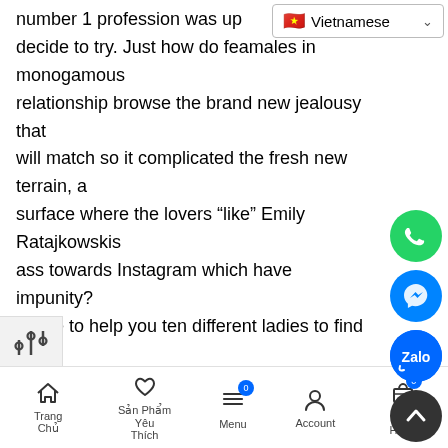number 1 profession was up
decide to try. Just how do feamales in monogamous relationship browse the brand new jealousy that will match so it complicated the fresh new terrain, a surface where the lovers “like” Emily Ratajkowskis ass towards Instagram which have impunity? spoke to help you ten different ladies to find out he way they strategy the partners’ public scr out-of horniness.
The new (No more) Blurry Contours
Trang Chủ | Sản Phẩm Yêu Thích | Menu | Account | Giỏ Hàng